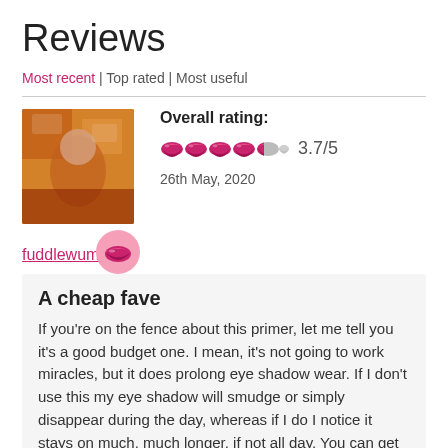Reviews
Most recent | Top rated | Most useful
[Figure (photo): Profile photo of reviewer fuddlewump, with a pink lips badge overlay]
Overall rating:
[Figure (other): Star/lip rating icons showing 3.7/5]
3.7/5
26th May, 2020
fuddlewump
A cheap fave
If you're on the fence about this primer, let me tell you it's a good budget one. I mean, it's not going to work miracles, but it does prolong eye shadow wear. If I don't use this my eye shadow will smudge or simply disappear during the day, whereas if I do I notice it stays on much, much longer, if not all day. You can get this in a brown or a white, and I personally like the white one better. Good, budget price and a decent sized bottle. It has a felt sort of brush that you unscrew with the lid and you can use that to apply or